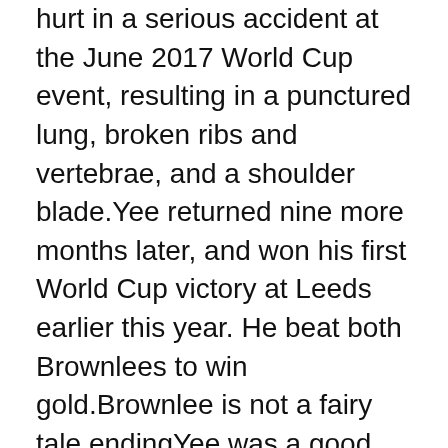hurt in a serious accident at the June 2017 World Cup event, resulting in a punctured lung, broken ribs and vertebrae, and a shoulder blade.Yee returned nine more months later, and won his first World Cup victory at Leeds earlier this year. He beat both Brownlees to win gold.Brownlee is not a fairy tale endingYee was a good pacer, building up through the swim and riding the bike before he surged to the front during the run.Compatriot Brownlee, who said he doesn't like Tokyo's hot conditions, was in medal contention up to the final laps when he couldn't keep up with eventual medallists.Brownlee won bronze in London and silver at Rio Olympics. This will be Brownlee's last Olympics.He said, "It wasn't a fairytale ending for me but we have another chance in the next chapter."And he gives them both and...